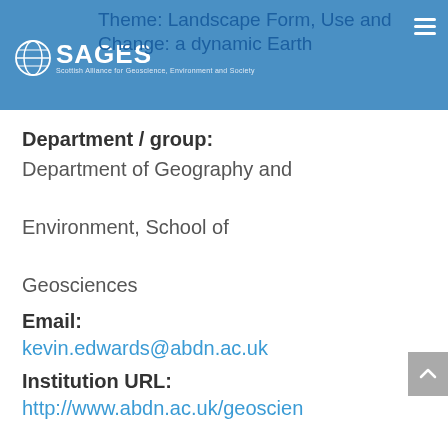SAGES — Scottish Alliance for Geoscience, Environment and Society
Theme: Landscape Form, Use and Change: a dynamic Earth
Department / group:
Department of Geography and Environment, School of Geosciences
Email:
kevin.edwards@abdn.ac.uk
Institution URL:
http://www.abdn.ac.uk/geoscien